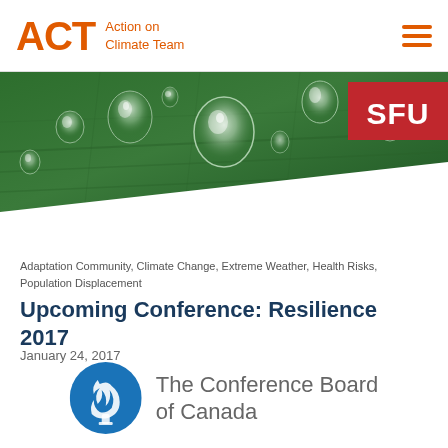ACT Action on Climate Team
[Figure (photo): Close-up photo of water droplets on a green leaf surface, with SFU red badge overlay in top-right corner]
Adaptation Community, Climate Change, Extreme Weather, Health Risks, Population Displacement
Upcoming Conference: Resilience 2017
January 24, 2017
[Figure (logo): The Conference Board of Canada logo — blue circular torch emblem with text 'The Conference Board of Canada']